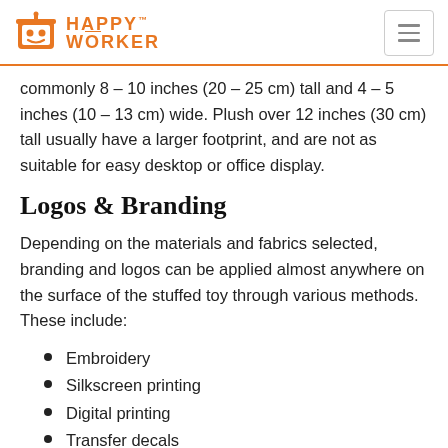HAPPY WORKER
commonly 8 – 10 inches (20 – 25 cm) tall and 4 – 5 inches (10 – 13 cm) wide. Plush over 12 inches (30 cm) tall usually have a larger footprint, and are not as suitable for easy desktop or office display.
Logos & Branding
Depending on the materials and fabrics selected, branding and logos can be applied almost anywhere on the surface of the stuffed toy through various methods. These include:
Embroidery
Silkscreen printing
Digital printing
Transfer decals